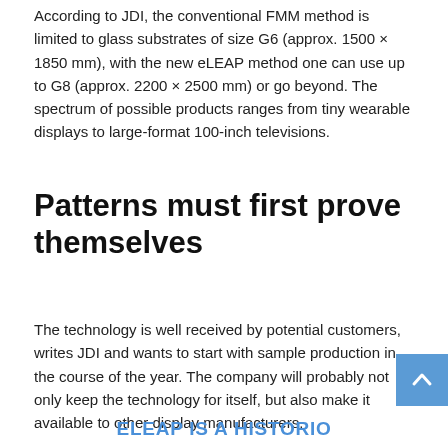According to JDI, the conventional FMM method is limited to glass substrates of size G6 (approx. 1500 × 1850 mm), with the new eLEAP method one can use up to G8 (approx. 2200 × 2500 mm) or go beyond. The spectrum of possible products ranges from tiny wearable displays to large-format 100-inch televisions.
Patterns must first prove themselves
The technology is well received by potential customers, writes JDI and wants to start with sample production in the course of the year. The company will probably not only keep the technology for itself, but also make it available to other display manufacturers.
ELEAP IS A HISTORIO